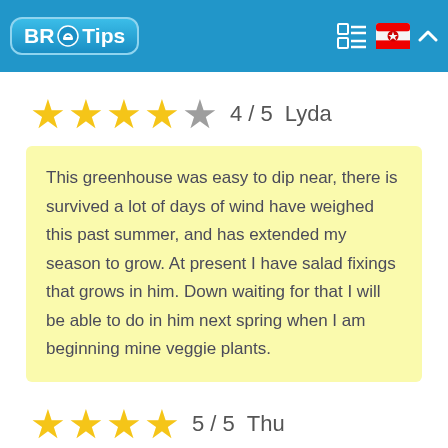BR Tips
4 / 5  Lyda
This greenhouse was easy to dip near, there is survived a lot of days of wind have weighed this past summer, and has extended my season to grow. At present I have salad fixings that grows in him. Down waiting for that I will be able to do in him next spring when I am beginning mine veggie plants.
5 / 5  Thu